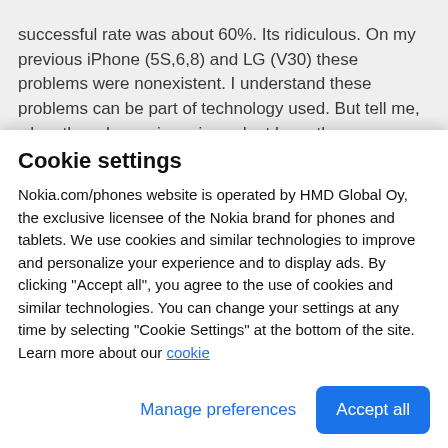successful rate was about 60%. Its ridiculous. On my previous iPhone (5S,6,8) and LG (V30) these problems were nonexistent. I understand these problems can be part of technology used. But tell me, why other phones in reviews dont have these problems (like Mi9). Also I found interesting information about OnePlus 6T fingerprint scanner optimalization. Maybe its the way to go also for Nokia:
“Every time a user successfully unlocks the phone with their fingerprint, the sensor also records areas of the
Cookie settings
Nokia.com/phones website is operated by HMD Global Oy, the exclusive licensee of the Nokia brand for phones and tablets. We use cookies and similar technologies to improve and personalize your experience and to display ads. By clicking "Accept all", you agree to the use of cookies and similar technologies. You can change your settings at any time by selecting "Cookie Settings" at the bottom of the site. Learn more about our cookie